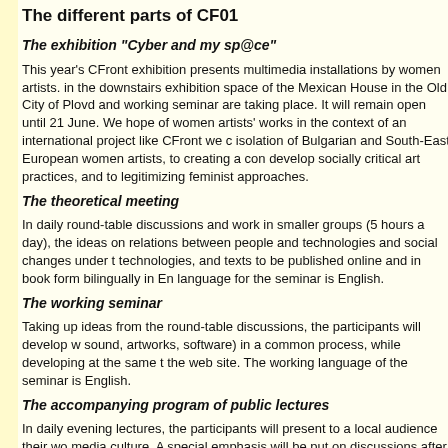The different parts of CF01
The exhibition "Cyber and my sp@ce"
This year's CFront exhibition presents multimedia installations by women artists. in the downstairs exhibition space of the Mexican House in the Old City of Plovd and working seminar are taking place. It will remain open until 21 June. We hope of women artists' works in the context of an international project like CFront we c isolation of Bulgarian and South-East European women artists, to creating a con develop socially critical art practices, and to legitimizing feminist approaches.
The theoretical meeting
In daily round-table discussions and work in smaller groups (5 hours a day), the ideas on relations between people and technologies and social changes under t technologies, and texts to be published online and in book form bilingually in En language for the seminar is English.
The working seminar
Taking up ideas from the round-table discussions, the participants will develop w sound, artworks, software) in a common process, while developing at the same t the web site. The working language of the seminar is English.
The accompanying program of public lectures
In daily evening lectures, the participants will present to a local audience their wo media culture. A special emphasis will be put on discussions after the lecture. Th consecutive translation to Bulgarian.